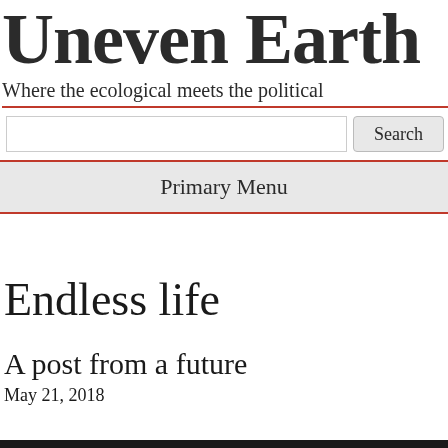Uneven Earth
Where the ecological meets the political
Search
Primary Menu
Endless life
A post from a future
May 21, 2018